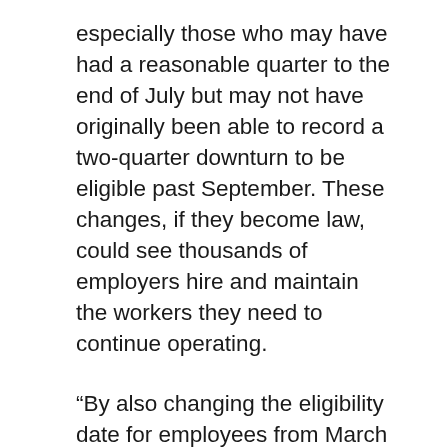especially those who may have had a reasonable quarter to the end of July but may not have originally been able to record a two-quarter downturn to be eligible past September. These changes, if they become law, could see thousands of employers hire and maintain the workers they need to continue operating.
“By also changing the eligibility date for employees from March to July, it will allow hundreds of thousands who were employed during that window to become eligible, taking a heavy strain off small business owners that have already been pushed to breaking point.”
The Federal Government has said the changes to the JobKeeper scheme will allow more than 500,000 employers, mostly in Victoria, to be eligible past September. Mr Mallett has warned business owners